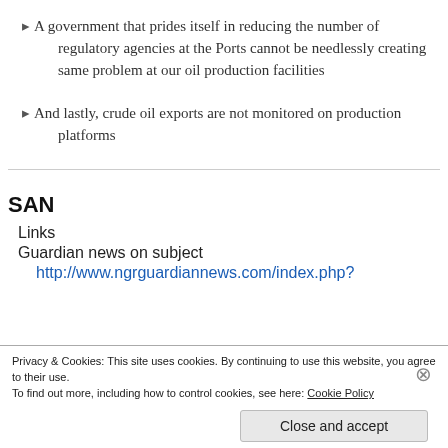A government that prides itself in reducing the number of regulatory agencies at the Ports cannot be needlessly creating same problem at our oil production facilities
And lastly, crude oil exports are not monitored on production platforms
SAN
Links
Guardian news on subject
http://www.ngrguardiannews.com/index.php?
Privacy & Cookies: This site uses cookies. By continuing to use this website, you agree to their use. To find out more, including how to control cookies, see here: Cookie Policy